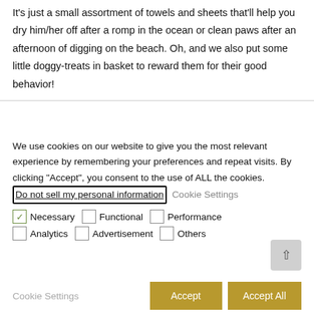It’s just a small assortment of towels and sheets that’ll help you dry him/her off after a romp in the ocean or clean paws after an afternoon of digging on the beach. Oh, and we also put some little doggy-treats in basket to reward them for their good behavior!
We use cookies on our website to give you the most relevant experience by remembering your preferences and repeat visits. By clicking “Accept”, you consent to the use of ALL the cookies. Do not sell my personal information Cookie Settings
☑ Necessary □ Functional □ Performance □ Analytics □ Advertisement □ Others
Cookie Settings   Accept   Accept All